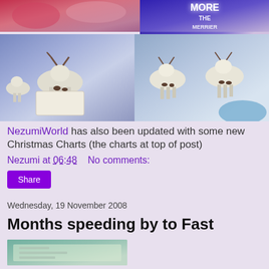[Figure (photo): Two photos side by side: left shows red/pink Christmas decoration scene; right shows a neon sign reading THE MORE THE MERRIER on purple/blue background]
[Figure (photo): Two photos side by side showing Christmas reindeer toy figurines in a decorated winter display]
NezumiWorld has also been updated with some new Christmas Charts (the charts at top of post)
Nezumi at 06:48    No comments:
Share
Wednesday, 19 November 2008
Months speeding by to Fast
[Figure (photo): Partial photo of a light-colored textured surface, possibly a cake or fabric]